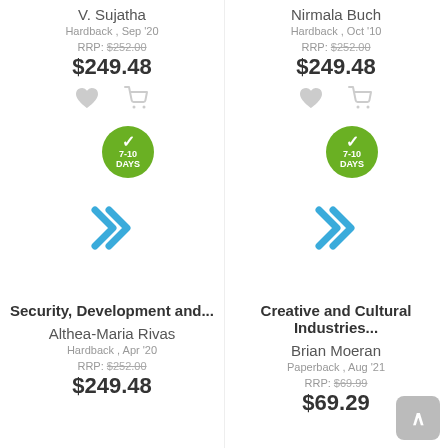V. Sujatha
Hardback , Sep '20
RRP: $252.00
$249.48
Nirmala Buch
Hardback , Oct '10
RRP: $252.00
$249.48
Security, Development and...
Althea-Maria Rivas
Hardback , Apr '20
RRP: $252.00
$249.48
Creative and Cultural Industries...
Brian Moeran
Paperback , Aug '21
RRP: $69.99
$69.29